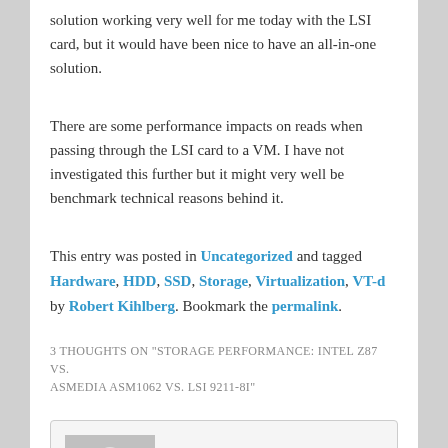solution working very well for me today with the LSI card, but it would have been nice to have an all-in-one solution.
There are some performance impacts on reads when passing through the LSI card to a VM. I have not investigated this further but it might very well be benchmark technical reasons behind it.
This entry was posted in Uncategorized and tagged Hardware, HDD, SSD, Storage, Virtualization, VT-d by Robert Kihlberg. Bookmark the permalink.
3 THOUGHTS ON "STORAGE PERFORMANCE: INTEL Z87 VS. ASMEDIA ASM1062 VS. LSI 9211-8I"
[Figure (photo): Default avatar placeholder — gray silhouette of a person on gray background]
Pit on November 20, 2014 at 18:00 said:
I was quite surprised about my SSD performance